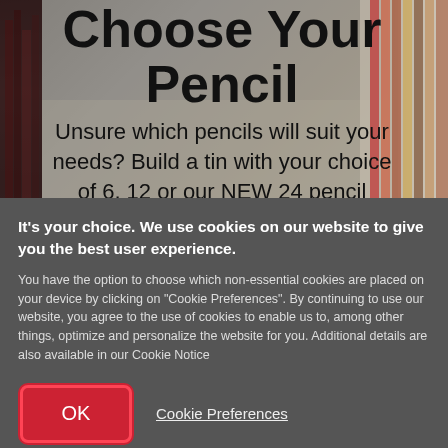[Figure (screenshot): Background photo of colored pencils and a pencil tin, partially obscured by overlay. Shows pencils arranged in a dark tin case on the right, with dark-colored pencils visible on the left edge.]
Choose Your Pencil
Unsure which pencils will suit your needs? Build a tin with your choice of 6, 12 or our NEW 24 pencil option, to try out before you commit to
It's your choice. We use cookies on our website to give you the best user experience.
You have the option to choose which non-essential cookies are placed on your device by clicking on "Cookie Preferences". By continuing to use our website, you agree to the use of cookies to enable us to, among other things, optimize and personalize the website for you. Additional details are also available in our Cookie Notice
OK
Cookie Preferences